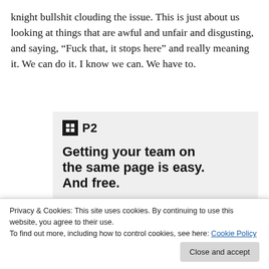knight bullshit clouding the issue. This is just about us looking at things that are awful and unfair and disgusting, and saying, “Fuck that, it stops here” and really meaning it. We can do it. I know we can. We have to.
[Figure (screenshot): P2 advertisement showing 'Getting your team on the same page is easy. And free.' with user avatars at bottom on a light grey background]
Privacy & Cookies: This site uses cookies. By continuing to use this website, you agree to their use.
To find out more, including how to control cookies, see here: Cookie Policy
Close and accept